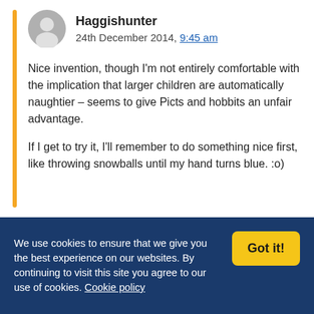Haggishunter
24th December 2014, 9:45 am
Nice invention, though I'm not entirely comfortable with the implication that larger children are automatically naughtier – seems to give Picts and hobbits an unfair advantage.

If I get to try it, I'll remember to do something nice first, like throwing snowballs until my hand turns blue. :o)
We use cookies to ensure that we give you the best experience on our websites. By continuing to visit this site you agree to our use of cookies. Cookie policy